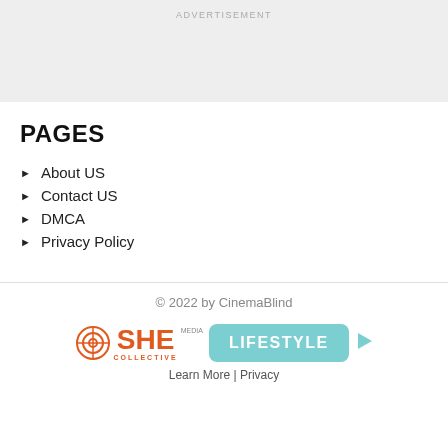ADVERTISEMENT
PAGES
About US
Contact US
DMCA
Privacy Policy
© 2022 by CinemaBlind
[Figure (logo): SHE Media Collective LIFESTYLE badge with play icon]
Learn More | Privacy